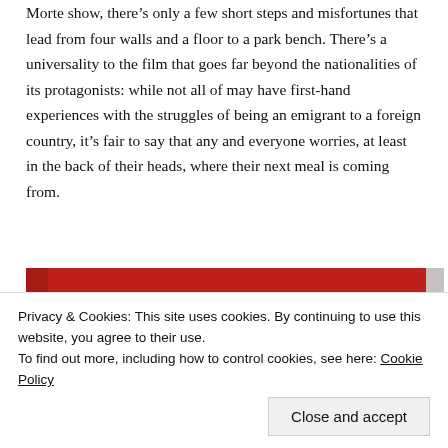Morte show, there's only a few short steps and misfortunes that lead from four walls and a floor to a park bench. There's a universality to the film that goes far beyond the nationalities of its protagonists: while not all of may have first-hand experiences with the struggles of being an emigrant to a foreign country, it's fair to say that any and everyone worries, at least in the back of their heads, where their next meal is coming from.
[Figure (other): Red advertisement banner with italic white text 'everyone else's.' and a black 'Start reading' button]
Privacy & Cookies: This site uses cookies. By continuing to use this website, you agree to their use.
To find out more, including how to control cookies, see here: Cookie Policy
Close and accept